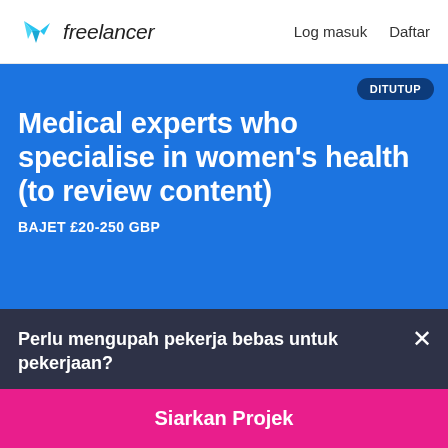[Figure (logo): Freelancer logo with cyan angular bird/arrow icon and the text 'freelancer' in dark font]
Log masuk   Daftar
Medical experts who specialise in women's health (to review content)
BAJET £20-250 GBP
DITUTUP
Perlu mengupah pekerja bebas untuk pekerjaan?
Siarkan Projek